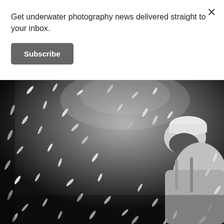Get underwater photography news delivered straight to your inbox.
Subscribe
[Figure (photo): Black and white underwater photograph of a diver surrounded by a school of small fish, viewed from below with light filtering through water surface]